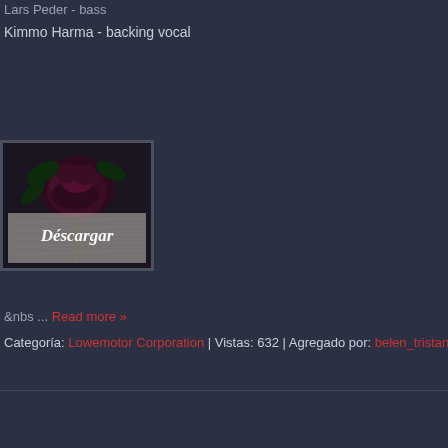Lars Peder - bass
Kimmo Harma - backing vocal
[Figure (illustration): Dark gothic rose image with handwritten text in background and 'Descargar' overlay text in decorative font]
&nbs ... Read more »
Categoría: Lowemotor Corporation | Vistas: 632 | Agregado por: belen_tristania | Fec